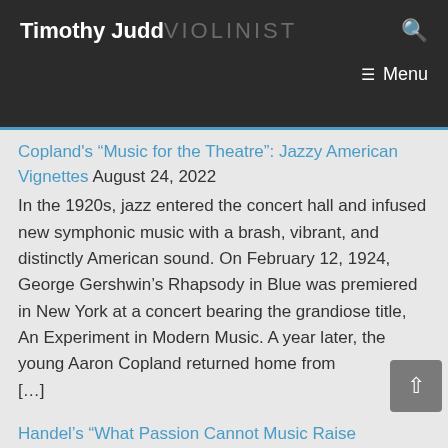Timothy Judd VIOLINIST  Menu
Copland's “Music for the Theatre”: Jazzy American Vignettes August 24, 2022
In the 1920s, jazz entered the concert hall and infused new symphonic music with a brash, vibrant, and distinctly American sound. On February 12, 1924, George Gershwin’s Rhapsody in Blue was premiered in New York at a concert bearing the grandiose title, An Experiment in Modern Music. A year later, the young Aaron Copland returned home from [...]
Handel’s “What Passion Cannot Music Raise”